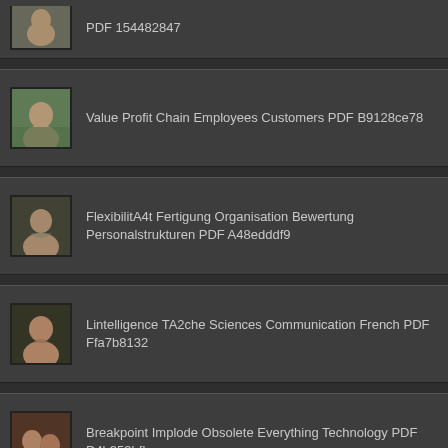PDF 154482847
Value Profit Chain Employees Customers PDF B9128ce78
FlexibilitA4t Fertigung Organisation Bewertung Personalstrukturen PDF A48edddf9
Lintelligence TA2che Sciences Communication French PDF Ffa7b8132
Breakpoint Implode Obsolete Everything Technology PDF D4b353bfb
Fixed Mobile Convergence Service Integration Substitution